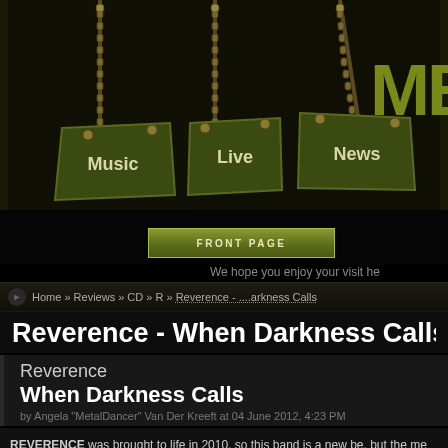[Figure (screenshot): Metal website header with chains, hanging sign navigation buttons (Music, Live, News) on dark olive/black textured background, with 'META' logo text in upper right]
FRONT PAGE
We hope you enjoy your visit he
Home » Reviews » CD » R » Reverence - ....arkness Calls
Reverence - When Darkness Calls
Reverence
When Darkness Calls
by Angela "MetalDancer" Van Der Kreeft at 04 June 2012, 4:23 PM
REVERENCE was brought to life in 2010, so this band is a new be, but the me TOKYO BLADE, SAVATAGE, CRIMSON GLORY and JACK STARR'S BURN experience and that does show very clearly on their heavy power metal debut a